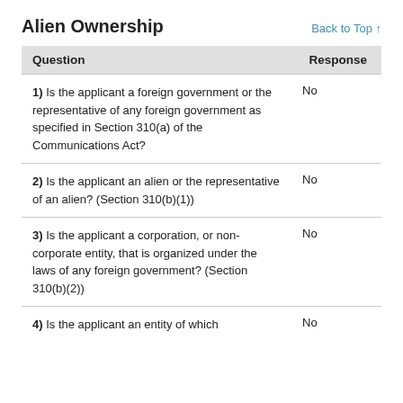Alien Ownership
Back to Top ↑
| Question | Response |
| --- | --- |
| 1) Is the applicant a foreign government or the representative of any foreign government as specified in Section 310(a) of the Communications Act? | No |
| 2) Is the applicant an alien or the representative of an alien? (Section 310(b)(1)) | No |
| 3) Is the applicant a corporation, or non-corporate entity, that is organized under the laws of any foreign government? (Section 310(b)(2)) | No |
| 4) Is the applicant an entity of which | No |